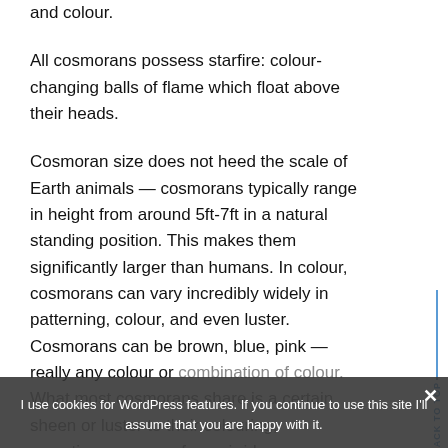and colour.
All cosmorans possess starfire: colour-changing balls of flame which float above their heads.
Cosmoran size does not heed the scale of Earth animals — cosmorans typically range in height from around 5ft-7ft in a natural standing position. This makes them significantly larger than humans. In colour, cosmorans can vary incredibly widely in patterning, colour, and even luster. Cosmorans can be brown, blue, pink — really any colour or combination of colour. What most cosmorans share is a certain sheen or luster to their colouring, sometimes even as far as irridescence or natural glitter. And all cosmorans have sparkling, starry
I use cookies for WordPress features. If you continue to use this site I'll assume that you are happy with it.